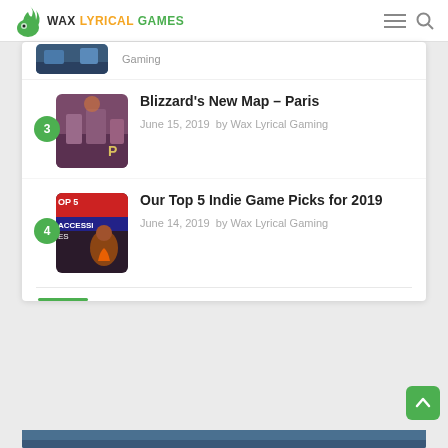WAX LYRICAL GAMES
[Figure (screenshot): Partially visible thumbnail of a game article (item 2), clipped at top]
Blizzard's New Map – Paris
June 15, 2019  by Wax Lyrical Gaming
Our Top 5 Indie Game Picks for 2019
June 14, 2019  by Wax Lyrical Gaming
[Figure (screenshot): Partially visible blue-toned image at the very bottom of the page]